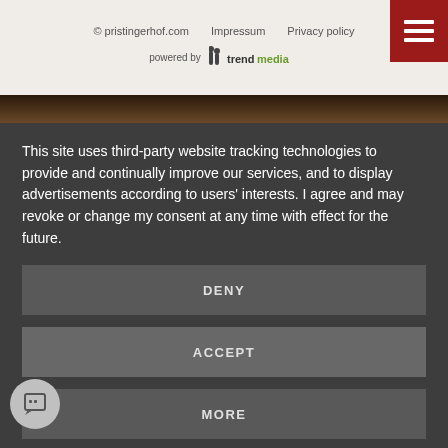© pristingerhof.com   Impressum   Privacy policy
powered by trendmedia
This site uses third-party website tracking technologies to provide and continually improve our services, and to display advertisements according to users' interests. I agree and may revoke or change my consent at any time with effect for the future.
DENY
ACCEPT
MORE